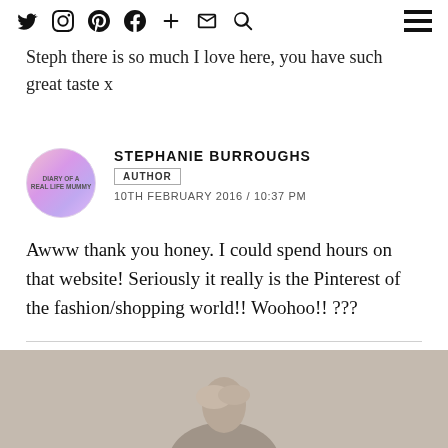[social icons: twitter, instagram, pinterest, facebook, plus, email, search] [hamburger menu]
Steph there is so much I love here, you have such great taste x
STEPHANIE BURROUGHS
AUTHOR
10TH FEBRUARY 2016 / 10:37 PM
Awww thank you honey. I could spend hours on that website! Seriously it really is the Pinterest of the fashion/shopping world!! Woohoo!! ???
[Figure (photo): Partial photo of a person, cropped at bottom of page, beige/grey background]